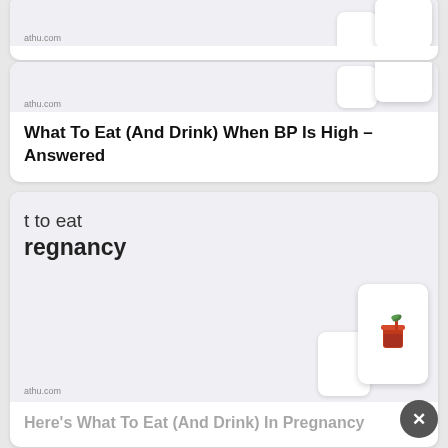[Figure (screenshot): Thumbnail image for article about blood pressure diet, showing stacked cards with food icon and source label athu.com]
What To Eat (And Drink) When BP Is High – Answered
[Figure (screenshot): Thumbnail image for pregnancy diet article, showing partial text 't to eat regnancy' and stacked cards with a drink cup emoji, source label athu.com]
Here's What To Eat (And Drink) In Pregnancy